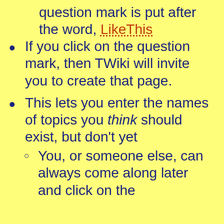question mark is put after the word, LikeThis
If you click on the question mark, then TWiki will invite you to create that page.
This lets you enter the names of topics you think should exist, but don't yet
You, or someone else, can always come along later and click on the